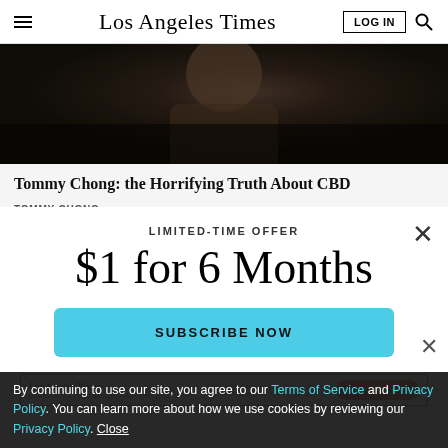Los Angeles Times
[Figure (photo): Dark moody photo of a person, likely Tommy Chong, partially lit against dark background]
Tommy Chong: the Horrifying Truth About CBD
TOMMY CHONG
LIMITED-TIME OFFER
$1 for 6 Months
SUBSCRIBE NOW
By continuing to use our site, you agree to our Terms of Service and Privacy Policy. You can learn more about how we use cookies by reviewing our Privacy Policy. Close